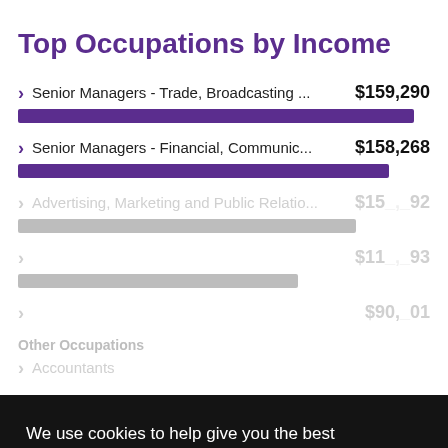Top Occupations by Income
Senior Managers - Trade, Broadcasting ... $159,290
Senior Managers - Financial, Communic... $158,268
Advertising, Marketing and Public Relatio... $15_,_92
$11_,_93
$90,_01
Other Occupations
Accountants
We use cookies to help give you the best experience on our website. By continuing without changing your cookie settings, we assume you agree to this. Please read our cookie policy and privacy policy to find out more.
Close
Accept